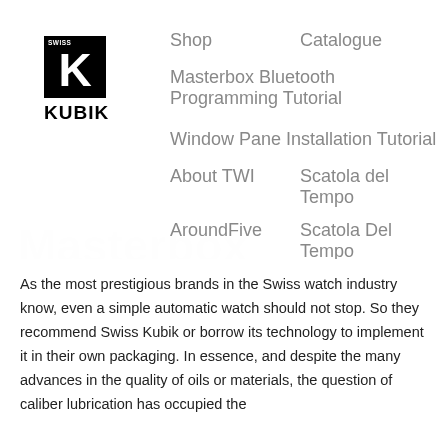[Figure (logo): Swiss Kubik brand logo — black square with white K letter and SWISS text, KUBIK text below in black]
Shop    Catalogue
Masterbox Bluetooth Programming Tutorial
Window Pane Installation Tutorial
About TWI    Scatola del Tempo
AroundFive    Scatola Del Tempo
Accessories    Service and Warranty
Masterbox Aluminum 8 Positions Taupe Anodized Aluminum
$5,910.00
As the most prestigious brands in the Swiss watch industry know, even a simple automatic watch should not stop. So they recommend Swiss Kubik or borrow its technology to implement it in their own packaging. In essence, and despite the many advances in the quality of oils or materials, the question of caliber lubrication has occupied the